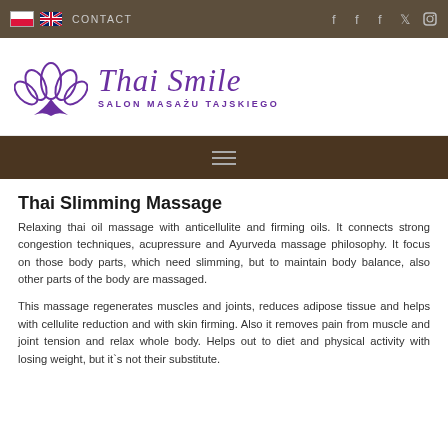CONTACT | social icons
[Figure (logo): Thai Smile - Salon Masażu Tajskiego logo with purple lotus flower and stylized text]
Thai Slimming Massage
Relaxing thai oil massage with anticellulite and firming oils. It connects strong congestion techniques, acupressure and Ayurveda massage philosophy. It focus on those body parts, which need slimming, but to maintain body balance, also other parts of the body are massaged.
This massage regenerates muscles and joints, reduces adipose tissue and helps with cellulite reduction and with skin firming. Also it removes pain from muscle and joint tension and relax whole body. Helps out to diet and physical activity with losing weight, but it`s not their substitute.